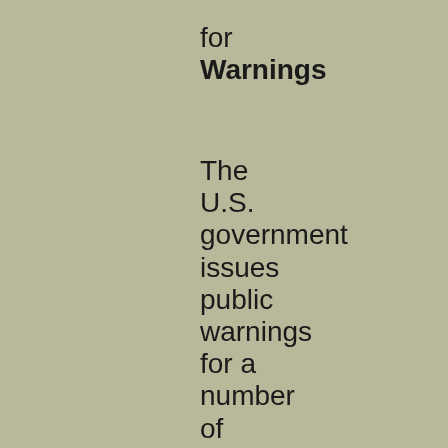for Warnings
The U.S. government issues public warnings for a number of reasons. One of these, of course, is genuine concern